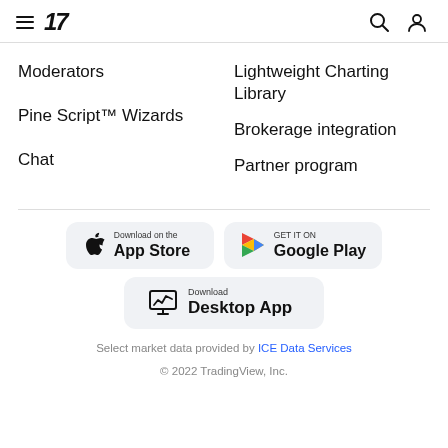TradingView navigation header with hamburger menu, TV logo, search and user icons
Moderators
Pine Script™ Wizards
Chat
Lightweight Charting Library
Brokerage integration
Partner program
[Figure (screenshot): Download on the App Store button]
[Figure (screenshot): Get it on Google Play button]
[Figure (screenshot): Download Desktop App button]
Select market data provided by ICE Data Services
© 2022 TradingView, Inc.